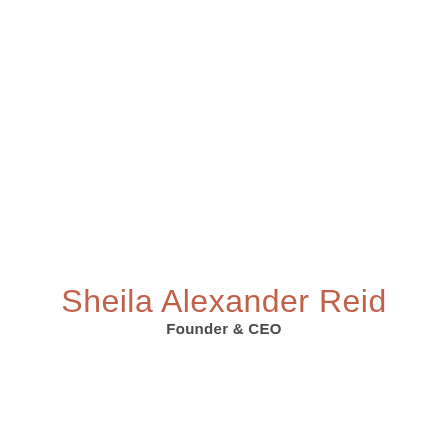Sheila Alexander Reid
Founder & CEO